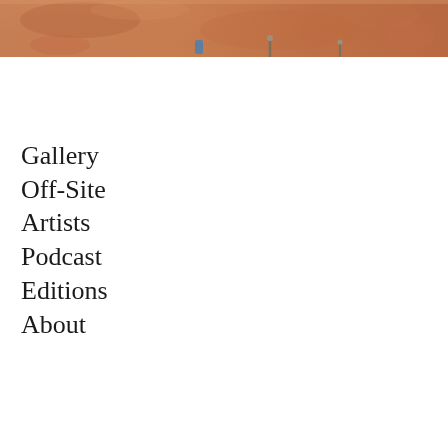[Figure (photo): Cropped close-up photo of a warm-toned, orange-brown surface, possibly a sculpture or artwork, with a blue element and metallic pins/nails visible in the lower portion.]
Gallery
Off-Site
Artists
Podcast
Editions
About